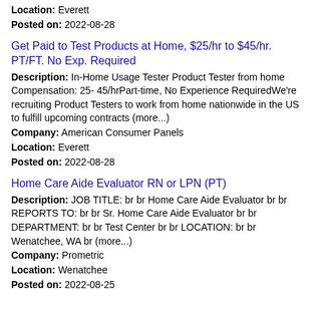Location: Everett
Posted on: 2022-08-28
Get Paid to Test Products at Home, $25/hr to $45/hr. PT/FT. No Exp. Required
Description: In-Home Usage Tester Product Tester from home Compensation: 25- 45/hrPart-time, No Experience RequiredWe're recruiting Product Testers to work from home nationwide in the US to fulfill upcoming contracts (more...)
Company: American Consumer Panels
Location: Everett
Posted on: 2022-08-28
Home Care Aide Evaluator RN or LPN (PT)
Description: JOB TITLE: br br Home Care Aide Evaluator br br REPORTS TO: br br Sr. Home Care Aide Evaluator br br DEPARTMENT: br br Test Center br br LOCATION: br br Wenatchee, WA br (more...)
Company: Prometric
Location: Wenatchee
Posted on: 2022-08-25
Salary in Seattle Hill-Silver Firs, Washington Area | More details for Seattle Hill-Silver Firs, Washington Jobs |Salary